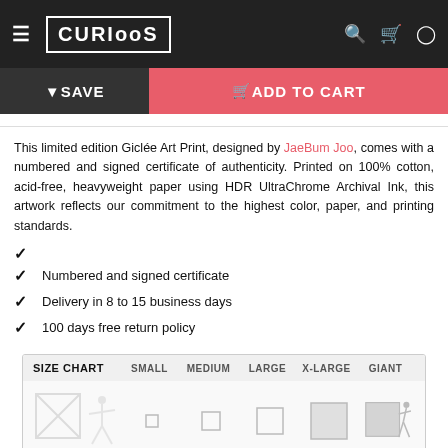CURIOOS
SAVE | ADD TO CART
This limited edition Giclée Art Print, designed by JaeBum Joo, comes with a numbered and signed certificate of authenticity. Printed on 100% cotton, acid-free, heavyweight paper using HDR UltraChrome Archival Ink, this artwork reflects our commitment to the highest color, paper, and printing standards.
✔
✔ Numbered and signed certificate
✔ Delivery in 8 to 15 business days
✔ 100 days free return policy
| SIZE CHART | SMALL | MEDIUM | LARGE | X-LARGE | GIANT |
| --- | --- | --- | --- | --- | --- |
| [size diagram] |  |  |  |  |  |